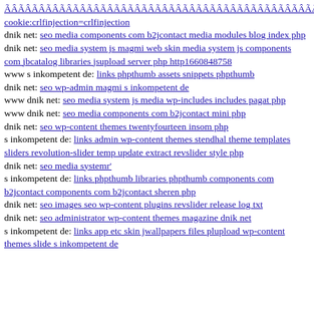ÃÂÃÂÃÂÃÂÃÂÃÂÃÂÃÂÃÂÃÂÃÂÃÂÃÂÃÂÃÂÃÂÃÂÃÂÃÂÃÂÃÂÃÂÃÂÃÂÃÂÃÂÃÂÃÂÃÂÃÂÃÂÃÂÃÂÃÂÃÂÃÂÃÂÃÂÃÂÃÂÃÂÃÂÃÂÃÂÃÂÃÂÃÂÃÂÃÂÃÂÃÂÃÂÃÂÃÂÃÂÃÂÃÂÃÂÃÂÃÂÃÂÃÂÃÂÃÂ cookie:crlfinjection=crlfinjection
dnik net: seo media components com b2jcontact media modules blog index php
dnik net: seo media system js magmi web skin media system js components com jbcatalog libraries jsupload server php http1660848758
www s inkompetent de: links phpthumb assets snippets phpthumb
dnik net: seo wp-admin magmi s inkompetent de
www dnik net: seo media system js media wp-includes includes pagat php
www dnik net: seo media components com b2jcontact mini php
dnik net: seo wp-content themes twentyfourteen insom php
s inkompetent de: links admin wp-content themes stendhal theme templates sliders revolution-slider temp update extract revslider style php
dnik net: seo media systemr'
s inkompetent de: links phpthumb libraries phpthumb components com b2jcontact components com b2jcontact sheren php
dnik net: seo images seo wp-content plugins revslider release log txt
dnik net: seo administrator wp-content themes magazine dnik net
s inkompetent de: links app etc skin jwallpapers files plupload wp-content themes slide s inkompetent de